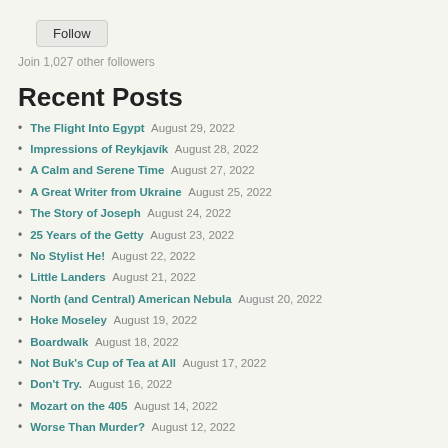Follow
Join 1,027 other followers
Recent Posts
The Flight Into Egypt August 29, 2022
Impressions of Reykjavík August 28, 2022
A Calm and Serene Time August 27, 2022
A Great Writer from Ukraine August 25, 2022
The Story of Joseph August 24, 2022
25 Years of the Getty August 23, 2022
No Stylist He! August 22, 2022
Little Landers August 21, 2022
North (and Central) American Nebula August 20, 2022
Hoke Moseley August 19, 2022
Boardwalk August 18, 2022
Not Buk's Cup of Tea at All August 17, 2022
Don't Try. August 16, 2022
Mozart on the 405 August 14, 2022
Worse Than Murder? August 12, 2022